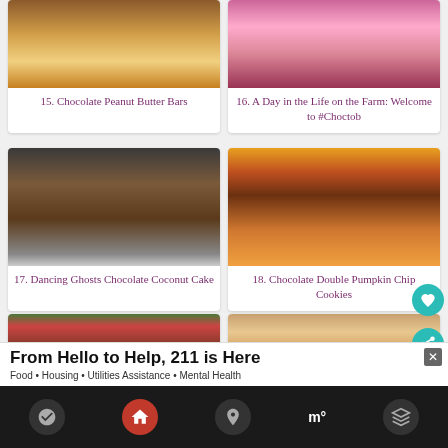[Figure (photo): Chocolate Peanut Butter Bars - layered bar with chocolate top]
15. Chocolate Peanut Butter Bars
[Figure (photo): Pink frosted cupcakes - A Day in the Life on the Farm]
16. A Day in the Life on the Farm: Welcome to #Choctob
[Figure (photo): Dancing Ghosts Chocolate Coconut Cake - chocolate layer cake]
17. Dancing Ghosts Chocolate Coconut Cake
[Figure (photo): Chocolate Double Pumpkin Chip Cookies with Halloween decorations]
18. Chocolate Double Pumpkin Chip Cookies
[Figure (photo): Chocolate bark with green and red candies]
[Figure (photo): Chocolate sandwich cookies with cream filling]
From Hello to Help, 211 is Here
Food • Housing • Utilities Assistance • Mental Health